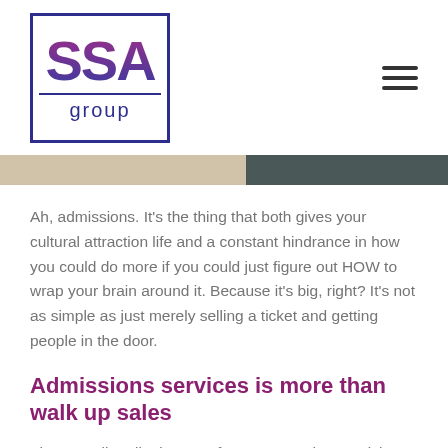[Figure (logo): SSA Group logo: bold 'SSA' text in purple-to-blue gradient inside a dark blue rectangular border, with 'group' in smaller dark blue text below a horizontal rule]
[Figure (photo): Partial hero image strip showing a textured/woven surface on the left and a dark surface on the right]
Ah, admissions. It’s the thing that both gives your cultural attraction life and a constant hindrance in how you could do more if you could just figure out HOW to wrap your brain around it. Because it’s big, right? It’s not as simple as just merely selling a ticket and getting people in the door.
Admissions services is more than walk up sales
There are literally dozens of ways to purchase a ticket at a cultural attraction. Your organization alone is probably made